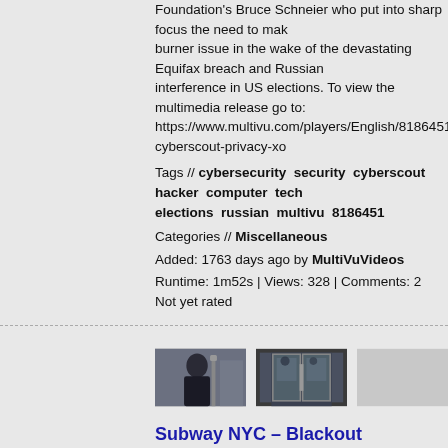Foundation's Bruce Schneier who put into sharp focus the need to make this a burner issue in the wake of the devastating Equifax breach and Russian interference in US elections. To view the multimedia release go to: https://www.multivu.com/players/English/8186451-cyberscout-privacy-xc
Tags // cybersecurity security cyberscout hacker computer tech elections russian multivu 8186451
Categories // Miscellaneous
Added: 1763 days ago by MultiVuVideos
Runtime: 1m52s | Views: 328 | Comments: 2
Not yet rated
[Figure (photo): Three thumbnail images: woman on subway, subway train door, blank/grey placeholder]
Subway NYC – Blackout
Four in ten New Yorkers report feeling unprepared for an emergency event, disaster, fire, power outage or act of terrorism. To raise awareness of prepare, encourage New Yorkers to plan ahead for disasters, the New York City B Department, the Federal Emergency Management Agency (FEMA) and releasing new public service announcements (PSAs) as part of the Rea conclude National Preparedness Month this September. The creative em take time to talk about making emergency plans, including what to do, w stay in touch during an emergency. "We want all New Yorkers to know w before a disaster strikes. We can help protect our families by thinking th before, during and after an emergency. The new ads show how easy it is empowering New Yorkers to have a much-needed discussion about fam shares Joseph J. Esposito, Commissioner of NYC Emergency Managen